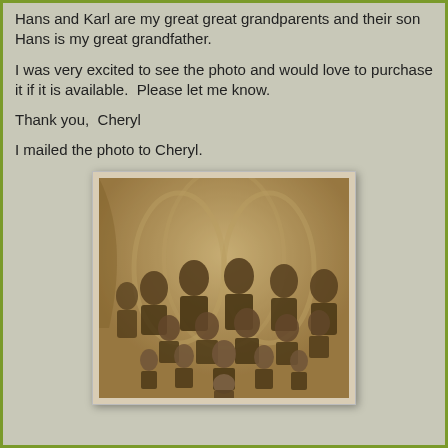Hans and Karl are my great great grandparents and their son Hans is my great grandfather.
I was very excited to see the photo and would love to purchase it if it is available.  Please let me know.
Thank you,  Cheryl
I mailed the photo to Cheryl.
[Figure (photo): An old sepia-toned family portrait photograph showing a large group of adults and children, approximately 14-16 people, posed together in a formal studio setting with decorative arched backdrop.]